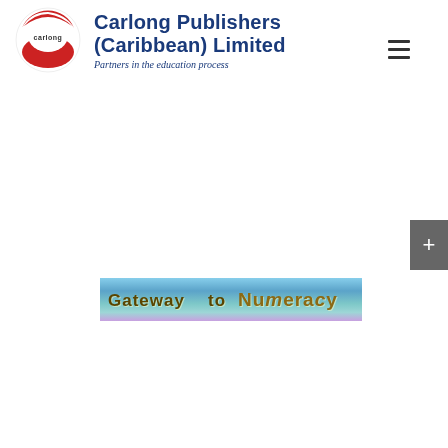[Figure (logo): Carlong Publishers (Caribbean) Limited logo with circular red and white emblem on left, bold blue company name and italic tagline 'Partners in the education process' on right]
[Figure (other): Hamburger menu icon (three horizontal lines) in top right corner]
[Figure (other): Gray plus button on right edge of page]
[Figure (illustration): Colorful banner image with gradient blue-purple background showing text 'Gateway to Numeracy' partially visible]